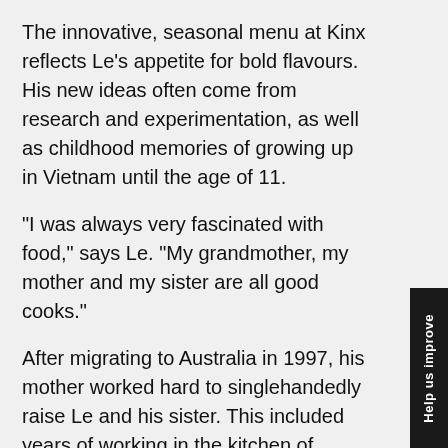The innovative, seasonal menu at Kinx reflects Le's appetite for bold flavours. His new ideas often come from research and experimentation, as well as childhood memories of growing up in Vietnam until the age of 11.
"I was always very fascinated with food," says Le. "My grandmother, my mother and my sister are all good cooks."
After migrating to Australia in 1997, his mother worked hard to singlehandedly raise Le and his sister. This included years of working in the kitchen of Cabramatta institution Dong Ba Restaurant.
"She worked seven days a week. She'd leave at 8am in the morning and wouldn't come home till 9.30pm at night."
When Le decided he wanted to be a chef at 23, his mother was against it because she knew just how hard the work is. She passed on her strong work ethic, however, and Le spent the next decade working in the kitchens of restaurants across the city. This included a long